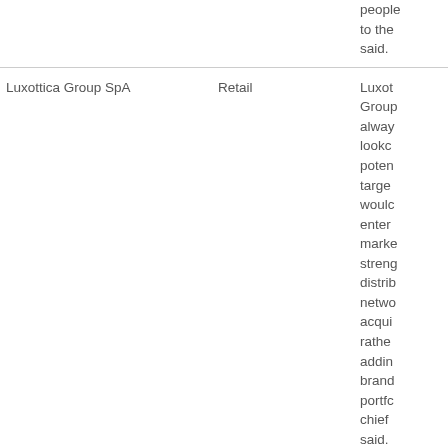| Company | Sector | Description |
| --- | --- | --- |
|  |  | people to the said. |
| Luxottica Group SpA | Retail | Luxottica Group always lookout potential target would enter market strength distribution network acqui rather adding brand portfolio chief said. |